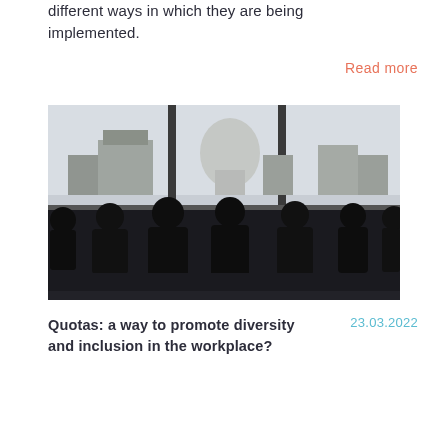different ways in which they are being implemented.
Read more
[Figure (photo): Silhouettes of people seated at a table in front of large windows with a view of St Paul's Cathedral and the London skyline.]
Quotas: a way to promote diversity and inclusion in the workplace?
23.03.2022